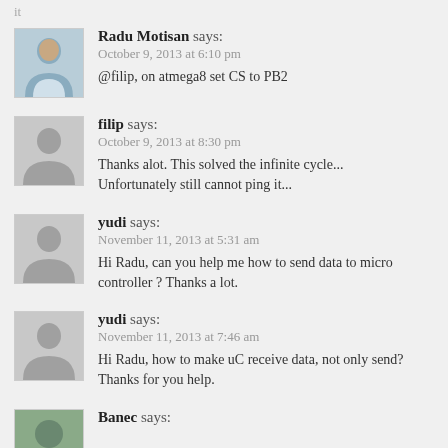it
[Figure (photo): Avatar photo of Radu Motisan]
Radu Motisan says:
October 9, 2013 at 6:10 pm
@filip, on atmega8 set CS to PB2
[Figure (illustration): Generic avatar silhouette for filip]
filip says:
October 9, 2013 at 8:30 pm
Thanks alot. This solved the infinite cycle... Unfortunately still cannot ping it...
[Figure (illustration): Generic avatar silhouette for yudi]
yudi says:
November 11, 2013 at 5:31 am
Hi Radu, can you help me how to send data to micro controller ? Thanks a lot.
[Figure (illustration): Generic avatar silhouette for yudi]
yudi says:
November 11, 2013 at 7:46 am
Hi Radu, how to make uC receive data, not only send? Thanks for you help.
[Figure (photo): Avatar photo of Banec]
Banec says: